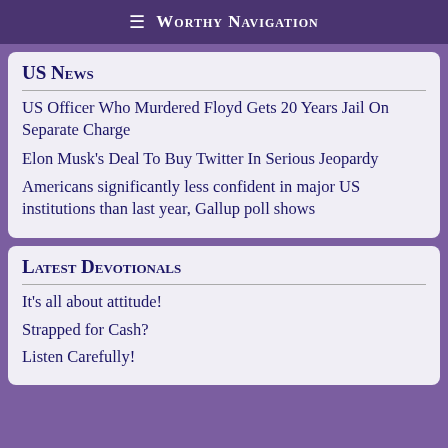≡ Worthy Navigation
US News
US Officer Who Murdered Floyd Gets 20 Years Jail On Separate Charge
Elon Musk's Deal To Buy Twitter In Serious Jeopardy
Americans significantly less confident in major US institutions than last year, Gallup poll shows
Latest Devotionals
It's all about attitude!
Strapped for Cash?
Listen Carefully!